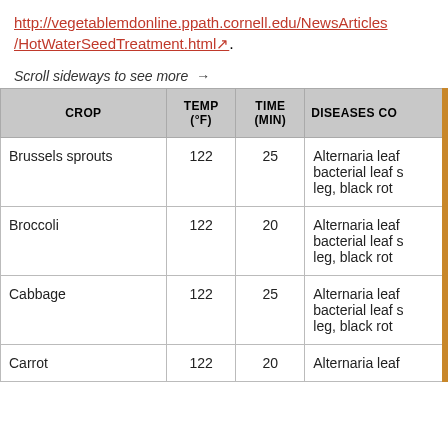http://vegetablemdonline.ppath.cornell.edu/NewsArticles/HotWaterSeedTreatment.html.
Scroll sideways to see more →
| CROP | TEMP (°F) | TIME (MIN) | DISEASES CO… |
| --- | --- | --- | --- |
| Brussels sprouts | 122 | 25 | Alternaria leaf…, bacterial leaf s…, leg, black rot |
| Broccoli | 122 | 20 | Alternaria leaf…, bacterial leaf s…, leg, black rot |
| Cabbage | 122 | 25 | Alternaria leaf…, bacterial leaf s…, leg, black rot |
| Carrot | 122 | 20 | Alternaria leaf… |